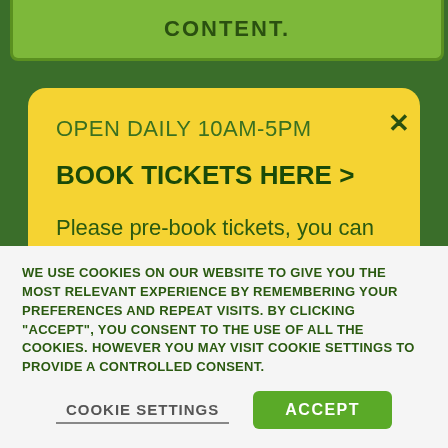CONTENT.
OPEN DAILY 10AM-5PM
BOOK TICKETS HERE >
Please pre-book tickets, you can arrive at any time.
* Last entry is 4pm.
WE USE COOKIES ON OUR WEBSITE TO GIVE YOU THE MOST RELEVANT EXPERIENCE BY REMEMBERING YOUR PREFERENCES AND REPEAT VISITS. BY CLICKING "ACCEPT", YOU CONSENT TO THE USE OF ALL THE COOKIES. HOWEVER YOU MAY VISIT COOKIE SETTINGS TO PROVIDE A CONTROLLED CONSENT.
COOKIE SETTINGS
ACCEPT